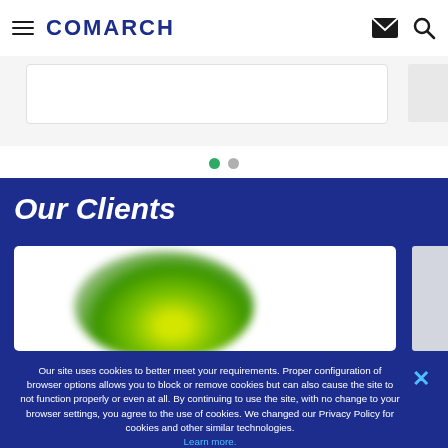COMARCH
[Figure (screenshot): Slider card partially visible with light gray background]
[Figure (other): Carousel pagination dots: one green active, one gray inactive]
Our Clients
[Figure (photo): Client logo card with green radial blob/gradient on white background, partially cut off on right]
Our site uses cookies to better meet your requirements. Proper configuration of browser options allows you to block or remove cookies but can also cause the site to not function properly or even at all. By continuing to use the site, with no change to your browser settings, you agree to the use of cookies. We changed our Privacy Policy for cookies and other similar technologies. Learn more.